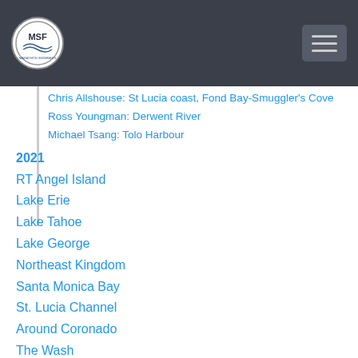MSF logo and navigation header
Chris Allshouse: St Lucia coast, Fond Bay-Smuggler's Cove
Ross Youngman: Derwent River
Michael Tsang: Tolo Harbour
2021
RT Angel Island
Lake Erie
Lake Tahoe
Lake George
Northeast Kingdom
Santa Monica Bay
St. Lucia Channel
Around Coronado
The Wash
Global Marathon Swimming Awards
Toughest Thirteen
track rs GPS Tracking